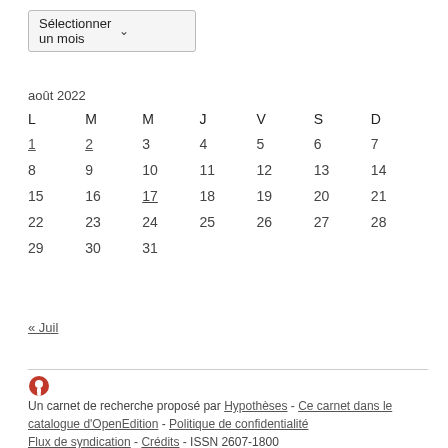[Figure (other): Dropdown select box labeled 'Sélectionner un mois' with a chevron arrow]
| L | M | M | J | V | S | D |
| --- | --- | --- | --- | --- | --- | --- |
| 1 | 2 | 3 | 4 | 5 | 6 | 7 |
| 8 | 9 | 10 | 11 | 12 | 13 | 14 |
| 15 | 16 | 17 | 18 | 19 | 20 | 21 |
| 22 | 23 | 24 | 25 | 26 | 27 | 28 |
| 29 | 30 | 31 |  |  |  |  |
« Juil
Un carnet de recherche proposé par Hypothèses - Ce carnet dans le catalogue d'OpenEdition - Politique de confidentialité
Flux de syndication - Crédits - ISSN 2607-1800